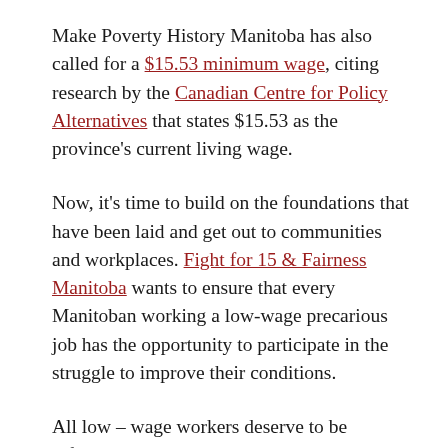Make Poverty History Manitoba has also called for a $15.53 minimum wage, citing research by the Canadian Centre for Policy Alternatives that states $15.53 as the province's current living wage.
Now, it's time to build on the foundations that have been laid and get out to communities and workplaces. Fight for 15 & Fairness Manitoba wants to ensure that every Manitoban working a low-wage precarious job has the opportunity to participate in the struggle to improve their conditions.
All low – wage workers deserve to be informed about their labour rights, develop organizing skills, and have access to resources to advocate for their